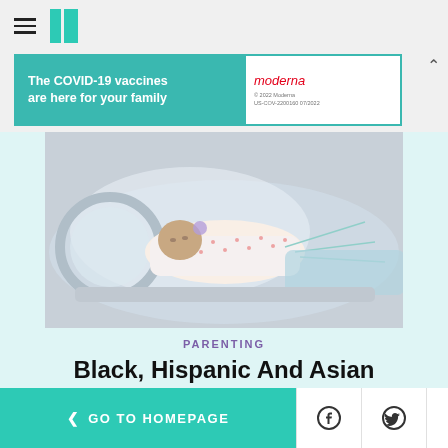HuffPost navigation bar with hamburger menu and logo
[Figure (illustration): Advertisement banner: 'The COVID-19 vaccines are here for your family' with Moderna logo and disclaimer text]
[Figure (photo): Newborn premature baby lying in a hospital incubator/NICU unit, wrapped in patterned cloth with medical tubes attached]
PARENTING
Black, Hispanic And Asian Babies Born Very Early Are Less Likely To Receive
< GO TO HOMEPAGE | Facebook share | Twitter share | Close